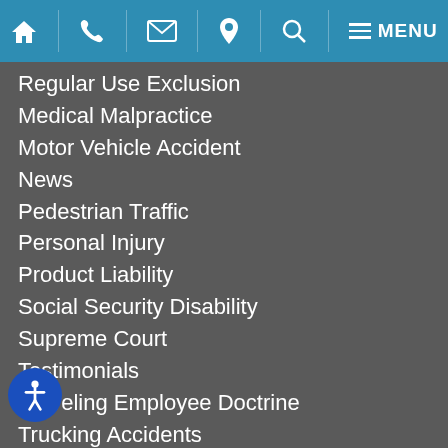Navigation bar with home, phone, email, location, search, and menu icons
Regular Use Exclusion
Medical Malpractice
Motor Vehicle Accident
News
Pedestrian Traffic
Personal Injury
Product Liability
Social Security Disability
Supreme Court
Testimonials
Traveling Employee Doctrine
Trucking Accidents
er Accidents
Work Related Travel
Workers Compensation